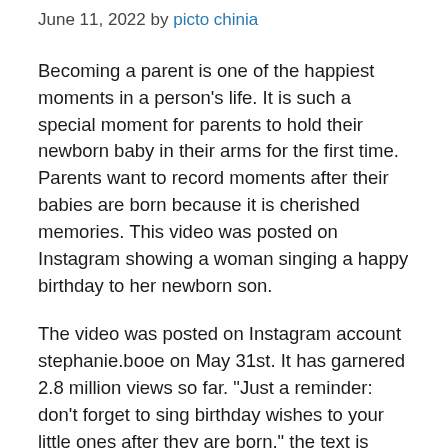June 11, 2022 by picto chinia
Becoming a parent is one of the happiest moments in a person’s life. It is such a special moment for parents to hold their newborn baby in their arms for the first time. Parents want to record moments after their babies are born because it is cherished memories. This video was posted on Instagram showing a woman singing a happy birthday to her newborn son.
The video was posted on Instagram account stephanie.booe on May 31st. It has garnered 2.8 million views so far. “Just a reminder: don’t forget to sing birthday wishes to your little ones after they are born,” the text is